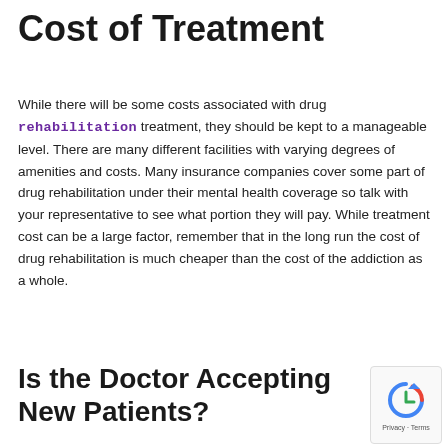Cost of Treatment
While there will be some costs associated with drug rehabilitation treatment, they should be kept to a manageable level. There are many different facilities with varying degrees of amenities and costs. Many insurance companies cover some part of drug rehabilitation under their mental health coverage so talk with your representative to see what portion they will pay. While treatment cost can be a large factor, remember that in the long run the cost of drug rehabilitation is much cheaper than the cost of the addiction as a whole.
Is the Doctor Accepting New Patients?